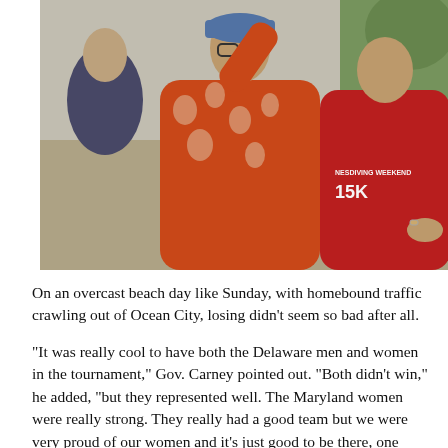[Figure (photo): Two women hugging outdoors. The woman in the center wears an orange floral top and a blue cap, and appears to be mid-motion. The woman on the right wears a red hoodie with text 'NESDIVING WEEKEND' and '15K'. In the background are other people, a wooden railing, blue chairs, and green foliage.]
On an overcast beach day like Sunday, with homebound traffic crawling out of Ocean City, losing didn't seem so bad after all.
"It was really cool to have both the Delaware men and women in the tournament," Gov. Carney pointed out. "Both didn't win," he added, "but they represented well. The Maryland women were really strong. They really had a good team but we were very proud of our women and it's just good to be there, one year when both teams win in their conference championships, so that was